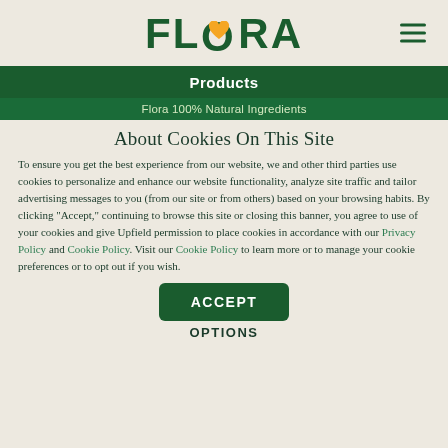[Figure (logo): Flora brand logo with green text and a yellow heart replacing the O in FLORA]
Products
Flora 100% Natural Ingredients
About Cookies On This Site
To ensure you get the best experience from our website, we and other third parties use cookies to personalize and enhance our website functionality, analyze site traffic and tailor advertising messages to you (from our site or from others) based on your browsing habits. By clicking "Accept," continuing to browse this site or closing this banner, you agree to use of your cookies and give Upfield permission to place cookies in accordance with our Privacy Policy and Cookie Policy. Visit our Cookie Policy to learn more or to manage your cookie preferences or to opt out if you wish.
ACCEPT
OPTIONS